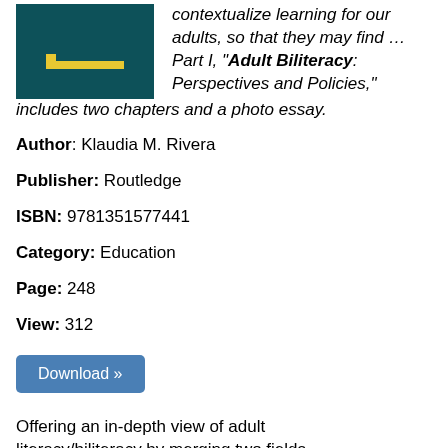[Figure (logo): Book cover with dark teal background and yellow bracket/frame design element]
contextualize learning for our adults, so that they may find … Part I, "Adult Biliteracy: Perspectives and Policies," includes two chapters and a photo essay.
Author: Klaudia M. Rivera
Publisher: Routledge
ISBN: 9781351577441
Category: Education
Page: 248
View: 312
Download »
Offering an in-depth view of adult literacy/biliteracy by merging two fields...